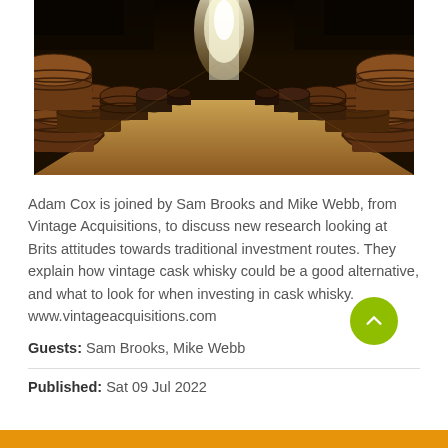[Figure (photo): Long corridor of wooden whisky casks/barrels stacked in a dimly lit warehouse, with light visible at the far end]
Adam Cox is joined by Sam Brooks and Mike Webb, from Vintage Acquisitions, to discuss new research looking at Brits attitudes towards traditional investment routes. They explain how vintage cask whisky could be a good alternative, and what to look for when investing in cask whisky. www.vintageacquisitions.com
Guests: Sam Brooks, Mike Webb
Published: Sat 09 Jul 2022